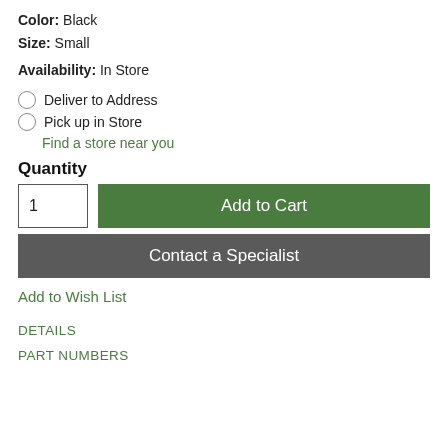Color: Black
Size: Small
Availability: In Store
Deliver to Address
Pick up in Store
Find a store near you
Quantity
1
Add to Cart
Contact a Specialist
Add to Wish List
DETAILS
PART NUMBERS